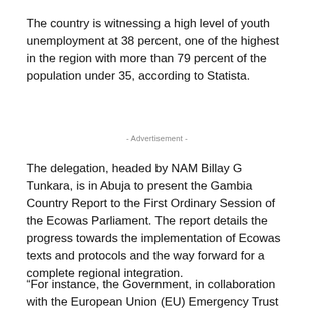The country is witnessing a high level of youth unemployment at 38 percent, one of the highest in the region with more than 79 percent of the population under 35, according to Statista.
- Advertisement -
The delegation, headed by NAM Billay G Tunkara, is in Abuja to present the Gambia Country Report to the First Ordinary Session of the Ecowas Parliament. The report details the progress towards the implementation of Ecowas texts and protocols and the way forward for a complete regional integration.
“For instance, the Government, in collaboration with the European Union (EU) Emergency Trust Fund for Africa has